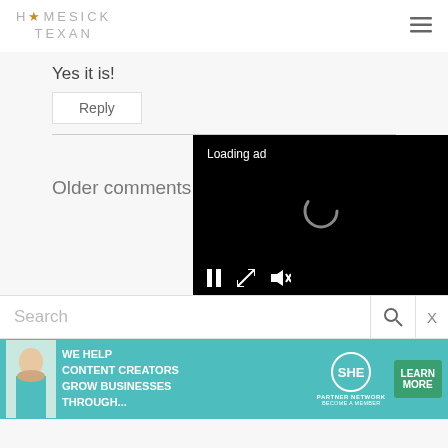HOMESICK TEXAN
Yes it is!
Reply
Older comments
[Figure (screenshot): Black video ad player showing 'Loading ad' text with a spinning loading circle and playback controls (pause, expand, mute) at the bottom]
Search
[Figure (infographic): SHE Media Partner Network banner advertisement with teal background, text 'WE HELP CONTENT CREATORS GROW BUSINESSES THROUGH...' and a 'LEARN MORE' button]